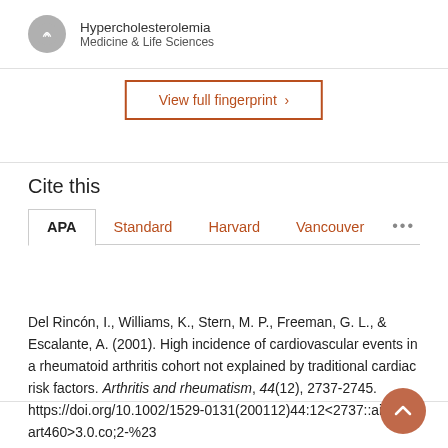Hypercholesterolemia
Medicine & Life Sciences
View full fingerprint >
Cite this
APA | Standard | Harvard | Vancouver | ...
Del Rincón, I., Williams, K., Stern, M. P., Freeman, G. L., & Escalante, A. (2001). High incidence of cardiovascular events in a rheumatoid arthritis cohort not explained by traditional cardiac risk factors. Arthritis and rheumatism, 44(12), 2737-2745. https://doi.org/10.1002/1529-0131(200112)44:12<2737::aid-art460>3.0.co;2-%23